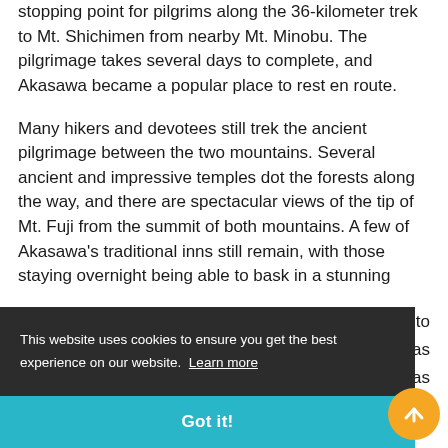stopping point for pilgrims along the 36-kilometer trek to Mt. Shichimen from nearby Mt. Minobu. The pilgrimage takes several days to complete, and Akasawa became a popular place to rest en route.
Many hikers and devotees still trek the ancient pilgrimage between the two mountains. Several ancient and impressive temples dot the forests along the way, and there are spectacular views of the tip of Mt. Fuji from the summit of both mountains. A few of Akasawa's traditional inns still remain, with those staying overnight being able to bask in a stunning [obscured] to [obscured] was [obscured] rds as [obscured]
This website uses cookies to ensure you get the best experience on our website. Learn more
Got it!